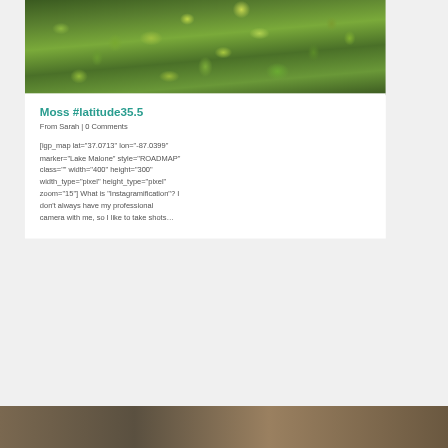[Figure (photo): Close-up macro photograph of bright green moss with detailed fronds and leaves, blurred background]
Moss #latitude35.5
From Sarah | 0 Comments
[igp_map lat="37.0713" lon="-87.0399" marker="Lake Malone" style="ROADMAP" class="" width="400" height="300" width_type="pixel" height_type="pixel" zoom="15"] What is “Instagramification”? I don’t always have my professional camera with me, so I like to take shots…
[Figure (photo): Partial view of another photo at the bottom of the page, cropped]